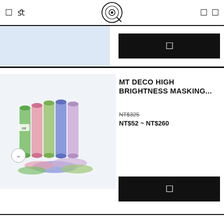Navigation header with logo and icons
[Figure (photo): Product image area at top (partially visible product)]
[Figure (photo): MT Deco High Brightness Masking Tape rolls product photo]
MT DECO HIGH BRIGHTNESS MASKING...
NT$325
NT$52 ~ NT$260